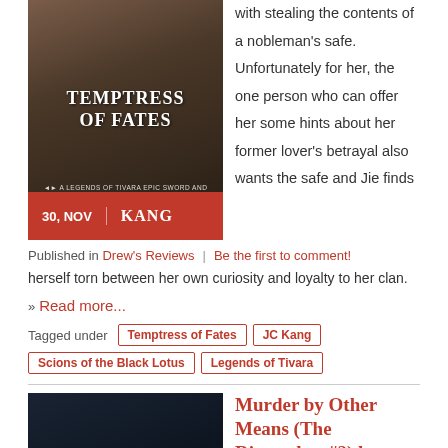[Figure (illustration): Book cover for 'Temptress of Fates' - A Legends of Tivara Epic Sword and Sorcery book by Kang, with a red banner showing '30, NOV']
with stealing the contents of a nobleman's safe. Unfortunately for her, the one person who can offer her some hints about her former lover's betrayal also wants the safe and Jie finds
Published in Drew's Reviews | Be the first to comment!
herself torn between her own curiosity and loyalty to her clan.
» Read more...
Tagged under Temptress of Fates JC Kang Scions of the Black Lotus Legends of Tivara
[Figure (illustration): Book cover for 'The Dispatcher' showing a dark moody scene]
Murder by Other Means (The Dispatcher #2) by John Scalzi - Book Review